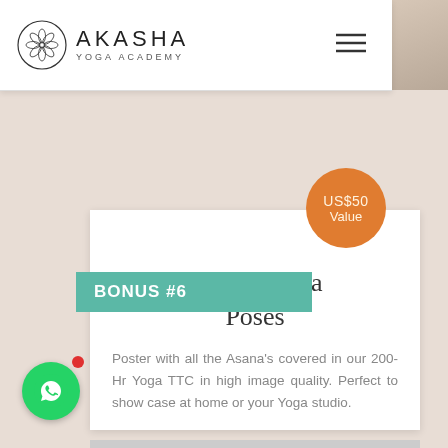[Figure (logo): Akasha Yoga Academy logo with circular mandala emblem and text AKASHA YOGA ACADEMY, with hamburger menu icon]
BONUS #6
Poster Asana Poses
Poster with all the Asana's covered in our 200-Hr Yoga TTC in high image quality. Perfect to show case at home or your Yoga studio.